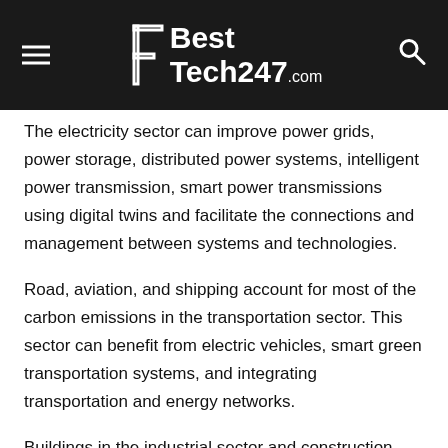BestTech247.com
The electricity sector can improve power grids, power storage, distributed power systems, intelligent power transmission, smart power transmissions using digital twins and facilitate the connections and management between systems and technologies.
Road, aviation, and shipping account for most of the carbon emissions in the transportation sector. This sector can benefit from electric vehicles, smart green transportation systems, and integrating transportation and energy networks.
Buildings in the industrial sector and construction industry require design innovation like enhancing building information modeling (BIM) with data collection and integration to improve material conservation. Cloud computing and AI...